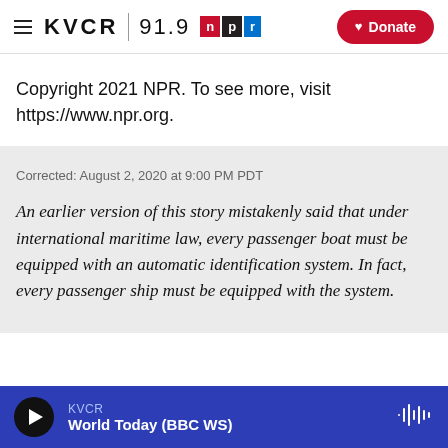KVCR 91.9 NPR — Donate
Copyright 2021 NPR. To see more, visit https://www.npr.org.
Corrected: August 2, 2020 at 9:00 PM PDT
An earlier version of this story mistakenly said that under international maritime law, every passenger boat must be equipped with an automatic identification system. In fact, every passenger ship must be equipped with the system.
KVCR — World Today (BBC WS)